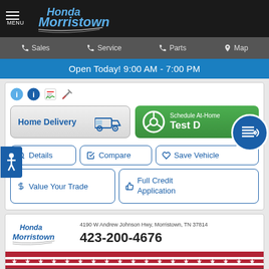[Figure (screenshot): Honda Morristown dealership website screenshot showing header with logo, navigation bar with Sales/Service/Parts/Map links, blue banner with hours, Home Delivery button, Schedule At-Home Test Drive button, action buttons for Details/Compare/Save Vehicle/Value Your Trade/Full Credit Application, and dealership contact info card at bottom with address 4190 W Andrew Johnson Hwy, Morristown, TN 37814 and phone 423-200-4676]